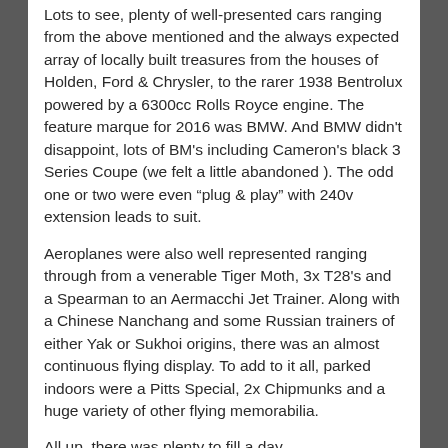Lots to see, plenty of well-presented cars ranging from the above mentioned and the always expected array of locally built treasures from the houses of Holden, Ford & Chrysler, to the rarer 1938 Bentrolux powered by a 6300cc Rolls Royce engine. The feature marque for 2016 was BMW. And BMW didn’t disappoint, lots of BM’s including Cameron’s black 3 Series Coupe (we felt a little abandoned ). The odd one or two were even “plug & play” with 240v extension leads to suit.
Aeroplanes were also well represented ranging through from a venerable Tiger Moth, 3x T28’s and a Spearman to an Aermacchi Jet Trainer. Along with a Chinese Nanchang and some Russian trainers of either Yak or Sukhoi origins, there was an almost continuous flying display. To add to it all, parked indoors were a Pitts Special, 2x Chipmunks and a huge variety of other flying memorabilia.
All up, there was plenty to fill a day.
Now strange things happen when you least expect it.